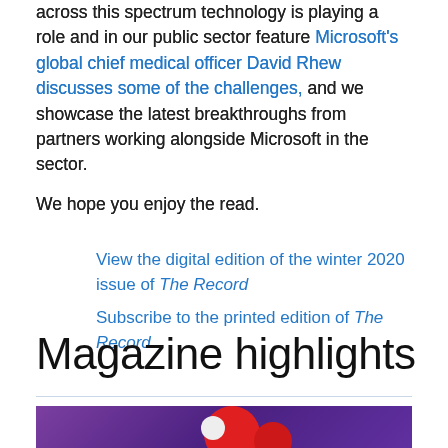across this spectrum technology is playing a role and in our public sector feature Microsoft's global chief medical officer David Rhew discusses some of the challenges, and we showcase the latest breakthroughs from partners working alongside Microsoft in the sector.
We hope you enjoy the read.
View the digital edition of the winter 2020 issue of The Record
Subscribe to the printed edition of The Record
Magazine highlights
[Figure (photo): Purple/violet background photo strip at the bottom of the page showing partial view of red circular objects]